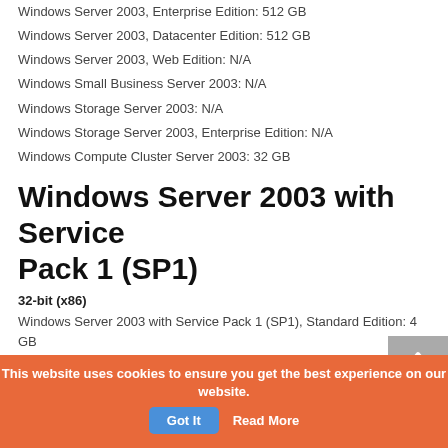Windows Server 2003, Enterprise Edition: 512 GB
Windows Server 2003, Datacenter Edition: 512 GB
Windows Server 2003, Web Edition: N/A
Windows Small Business Server 2003: N/A
Windows Storage Server 2003: N/A
Windows Storage Server 2003, Enterprise Edition: N/A
Windows Compute Cluster Server 2003: 32 GB
Windows Server 2003 with Service Pack 1 (SP1)
32-bit (x86)
Windows Server 2003 with Service Pack 1 (SP1), Standard Edition: 4 GB
Windows Server 2003 with Service Pack 1 (SP1), Enterprise Edition: 64 GB
Windows Server 2003 with Service Pack 1 (SP1), Datacenter Edition:
This website uses cookies to ensure you get the best experience on our website.